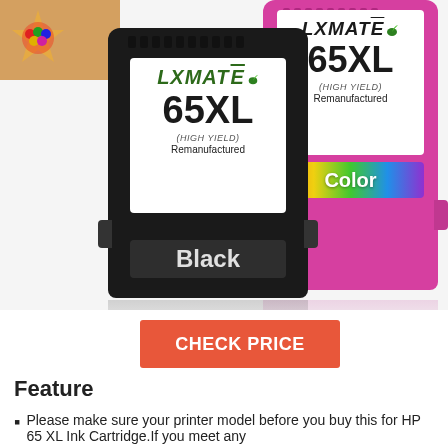[Figure (photo): Product photo showing two LXMATE 65XL remanufactured ink cartridges: a black cartridge on the left and a color/magenta cartridge on the right, with a cardboard box visible in the top-left corner.]
CHECK PRICE
Feature
Please make sure your printer model before you buy this for HP 65 XL Ink Cartridge.If you meet any